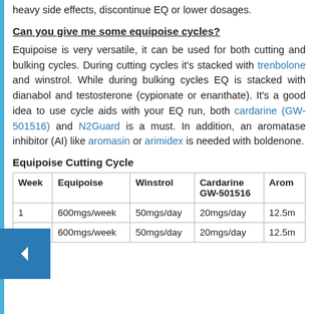heavy side effects, discontinue EQ or lower dosages.
Can you give me some equipoise cycles?
Equipoise is very versatile, it can be used for both cutting and bulking cycles. During cutting cycles it's stacked with trenbolone and winstrol. While during bulking cycles EQ is stacked with dianabol and testosterone (cypionate or enanthate). It's a good idea to use cycle aids with your EQ run, both cardarine (GW-501516) and N2Guard is a must. In addition, an aromatase inhibitor (AI) like aromasin or arimidex is needed with boldenone.
Equipoise Cutting Cycle
| Week | Equipoise | Winstrol | Cardarine GW-501516 | Arom |
| --- | --- | --- | --- | --- |
| 1 | 600mgs/week | 50mgs/day | 20mgs/day | 12.5m |
| 2 | 600mgs/week | 50mgs/day | 20mgs/day | 12.5m |